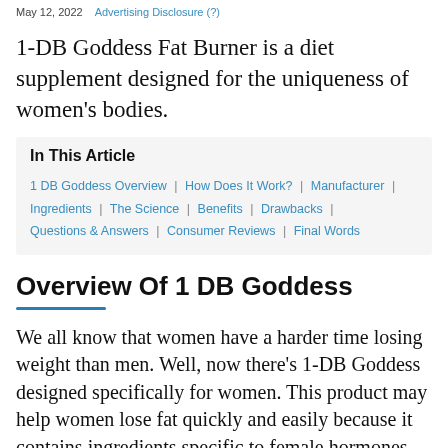May 12, 2022   Advertising Disclosure
1-DB Goddess Fat Burner is a diet supplement designed for the uniqueness of women's bodies.
In This Article
1 DB Goddess Overview  |  How Does It Work?  |  Manufacturer  |  Ingredients  |  The Science  |  Benefits  |  Drawbacks  |  Questions & Answers  |  Consumer Reviews  |  Final Words
Overview Of 1 DB Goddess
We all know that women have a harder time losing weight than men. Well, now there's 1-DB Goddess designed specifically for women. This product may help women lose fat quickly and easily because it contains ingredients specific to female hormones